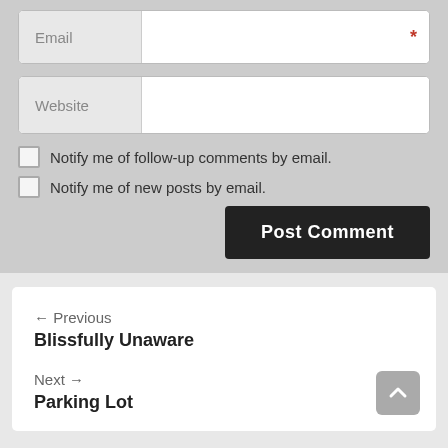[Figure (screenshot): Email input field with label 'Email' on left gray section and white input area with red asterisk on right]
[Figure (screenshot): Website input field with label 'Website' on left gray section and white input area on right]
Notify me of follow-up comments by email.
Notify me of new posts by email.
Post Comment
← Previous
Blissfully Unaware
Next →
Parking Lot